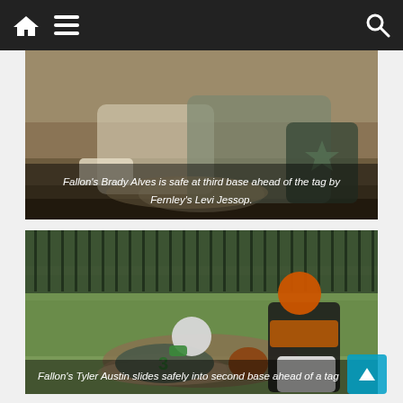Navigation bar with home, menu, and search icons
[Figure (photo): Baseball action photo showing a player sliding safely into third base with a fielder applying a tag, dirt field setting]
Fallon's Brady Alves is safe at third base ahead of the tag by Fernley's Levi Jessop.
[Figure (photo): Baseball action photo showing player number 3 sliding into second base while an opposing fielder in orange and black uniform attempts a tag, grass field setting]
Fallon's Tyler Austin slides safely into second base ahead of a tag